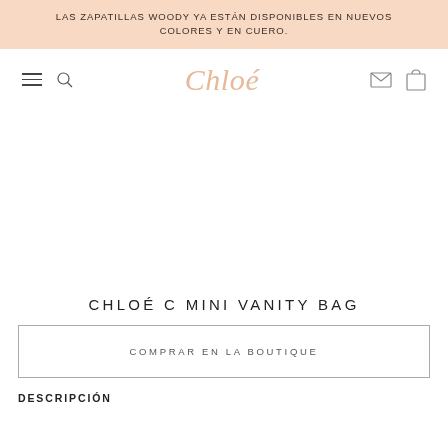LAS ZAPATILLAS WOODY YA ESTÁN DISPONIBLES EN NUEVOS COLORES Y EN CUERO.
[Figure (screenshot): Chloé brand navigation bar with hamburger menu, search icon, Chloé logo in peach/rose italic font, envelope icon, and shopping bag icon]
CHLOÉ C MINI VANITY BAG
COMPRAR EN LA BOUTIQUE
DESCRIPCIÓN